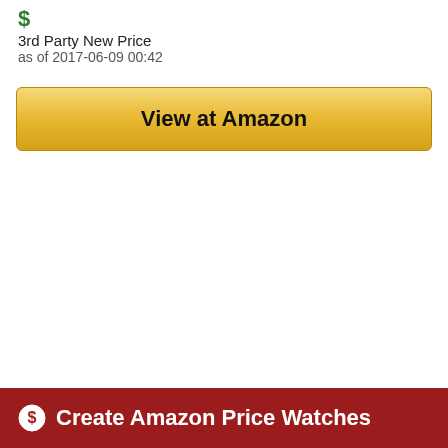3rd Party New Price
as of 2017-06-09 00:42
[Figure (screenshot): Yellow 'View at Amazon' button with rounded corners and gradient background]
Create Amazon Price Watches